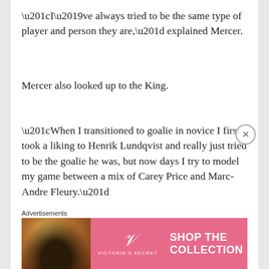“I’ve always tried to be the same type of player and person they are,” explained Mercer.
Mercer also looked up to the King.
“When I transitioned to goalie in novice I first took a liking to Henrik Lundqvist and really just tried to be the goalie he was, but now days I try to model my game between a mix of Carey Price and Marc-Andre Fleury.”
“I try to rely on positioning, tracking and rebound control first, but can also be fast and flashy like
Advertisements
[Figure (other): Victoria's Secret advertisement banner with model photo, VS logo, 'SHOP THE COLLECTION' text and 'SHOP NOW' button]